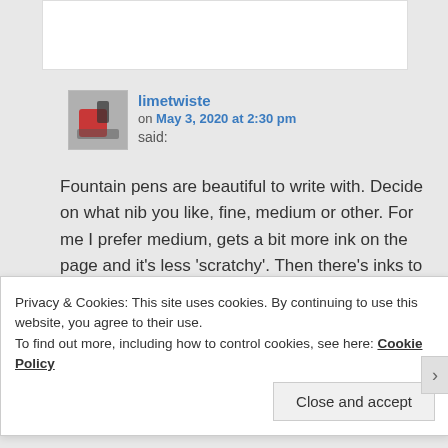limetwiste
on May 3, 2020 at 2:30 pm said:
Fountain pens are beautiful to write with. Decide on what nib you like, fine, medium or other. For me I prefer medium, gets a bit more ink on the page and it's less 'scratchy'. Then there's inks to play with and
Privacy & Cookies: This site uses cookies. By continuing to use this website, you agree to their use.
To find out more, including how to control cookies, see here: Cookie Policy
Close and accept